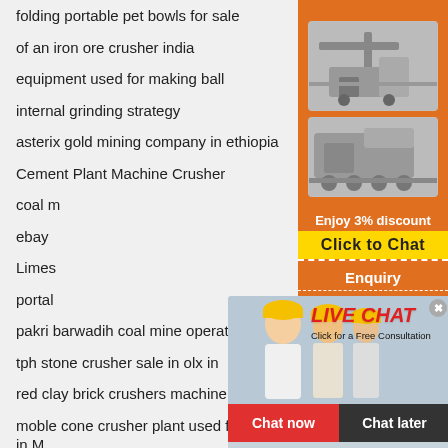folding portable pet bowls for sale
of an iron ore crusher india
equipment used for making ball
internal grinding strategy
asterix gold mining company in ethiopia
Cement Plant Machine Crusher
coal m...
ebay ...
Limes...
portal...
pakri barwadih coal mine operation photos
tph stone crusher sale in olx in
red clay brick crushers machine
moble cone crusher plant used for mining in M...
River Gravel Sand Washing Machinery
Penghancur Kerucut Rusak   meat grinder solution
[Figure (screenshot): Orange sidebar panel with two mining machine images, a discount/chat button, and an enquiry section with email limingjlmofen@sina.com]
[Figure (screenshot): Live chat popup overlay with workers in hard hats, LIVE CHAT heading, Chat now and Chat later buttons]